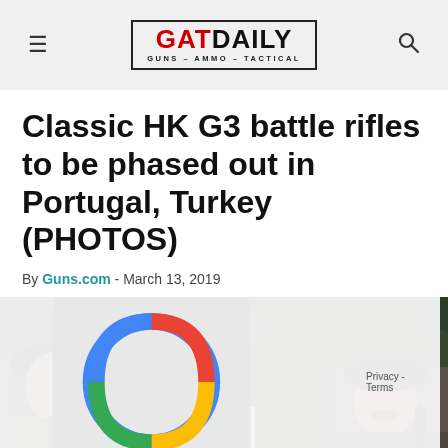GAT DAILY — GUNS – AMMO – TACTICAL
Classic HK G3 battle rifles to be phased out in Portugal, Turkey (PHOTOS)
By Guns.com - March 13, 2019
[Figure (photo): Military personnel in uniform berets saluting, with rifles visible, outdoors with blurred green background. A female soldier in the foreground wearing white gloves and a beret with insignia.]